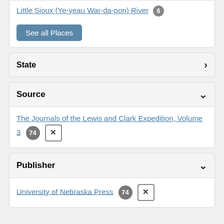Little Sioux (Ye-yeau War-da-pon) River 6
See all Places
State ›
Source ˅
The Journals of the Lewis and Clark Expedition, Volume 3 74 ×
Publisher ˅
University of Nebraska Press 74 ×